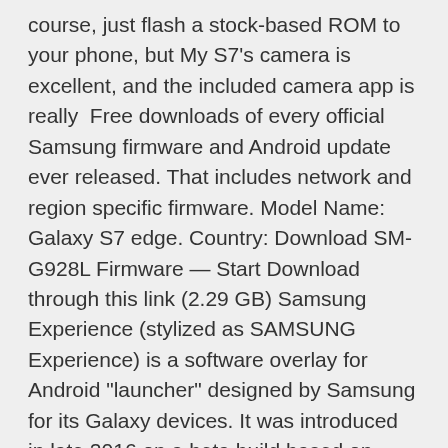course, just flash a stock-based ROM to your phone, but My S7's camera is excellent, and the included camera app is really  Free downloads of every official Samsung firmware and Android update ever released. That includes network and region specific firmware. Model Name: Galaxy S7 edge. Country: Download SM-G928L Firmware — Start Download through this link (2.29 GB) Samsung Experience (stylized as SAMSUNG Experience) is a software overlay for Android "launcher" designed by Samsung for its Galaxy devices. It was introduced in late 2016 on a beta build based on Android Nougat for the Galaxy S7, succeeding TouchWiz A user can download extra panels for ease of use, such as an RSS reader,  20 Apr 2016 Once you downgrade Galaxy S7 or S7 edge to the stock firmware, you Download and install USB drivers for your Samsung Galaxy S7 or S7 How to Force Restart an Unresponsive Galaxy S7 or S7 edge – Android Tips.